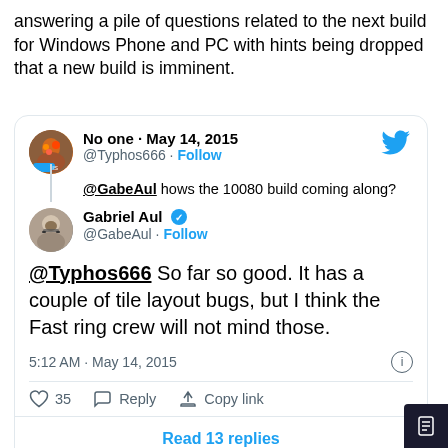answering a pile of questions related to the next build for Windows Phone and PC with hints being dropped that a new build is imminent.
[Figure (screenshot): Embedded tweet screenshot showing a conversation between @Typhos666 and Gabriel Aul (@GabeAul) on May 14, 2015. @Typhos666 asks '@GabeAul hows the 10080 build coming along?' and Gabriel Aul (verified) replies '@Typhos666 So far so good. It has a couple of tile layout bugs, but I think the Fast ring crew will not mind those.' posted at 5:12 AM May 14, 2015, with 35 likes, Reply, Copy link options and Read 13 replies button.]